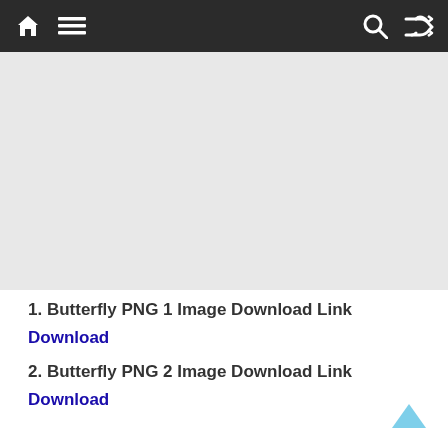Navigation bar with home, menu, search, and shuffle icons
[Figure (other): Advertisement placeholder area (gray background)]
1. Butterfly PNG 1 Image Download Link
Download
2. Butterfly PNG 2 Image Download Link
Download